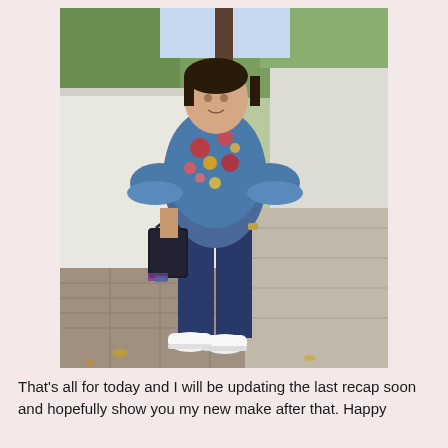[Figure (photo): A woman standing on a sidewalk outdoors. She is wearing a blue floral short-sleeve top with ruffle sleeves, dark navy jeans, and white sneakers. She holds a black handbag with a floral scarf. Trees and a white concrete wall are visible in the background.]
That's all for today and I will be updating the last recap soon and hopefully show you my new make after that. Happy